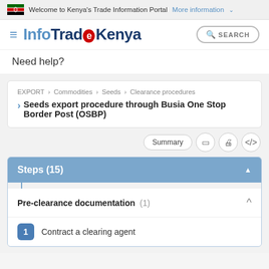Welcome to Kenya's Trade Information Portal More information
InfoTradeKenya
Need help?
EXPORT > Commodities > Seeds > Clearance procedures
Seeds export procedure through Busia One Stop Border Post (OSBP)
Summary
Steps (15)
Pre-clearance documentation (1)
1 Contract a clearing agent